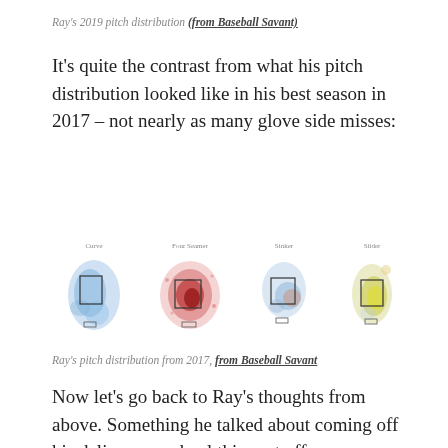Ray's 2019 pitch distribution (from Baseball Savant)
It's quite the contrast from what his pitch distribution looked like in his best season in 2017 – not nearly as many glove side misses:
[Figure (infographic): Four pitch distribution heat maps for Ray's 2017 season from Baseball Savant showing Curve, Four Seamer, Sinker, and Slider pitch locations.]
Ray's pitch distribution from 2017, from Baseball Savant
Now let's go back to Ray's thoughts from above. Something he talked about coming off his delivery overhaul this past offseason